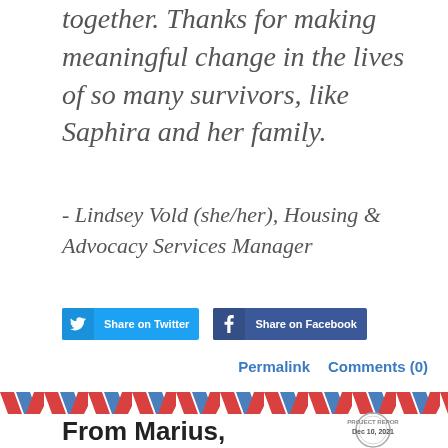together. Thanks for making meaningful change in the lives of so many survivors, like Saphira and her family.
- Lindsey Vold (she/her), Housing & Advocacy Services Manager
[Figure (other): Share on Twitter and Share on Facebook social media buttons]
Permalink   Comments (0)
[Figure (other): Airmail-style diagonal stripe border (red and blue chevrons/arrows)]
From Marius, survivor at Raphael